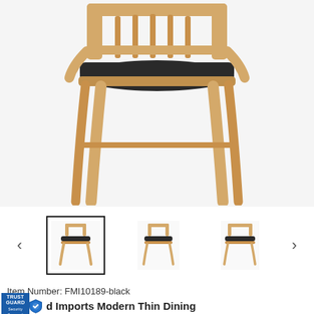[Figure (photo): Main product image: a modern Scandinavian-style dining chair with a natural oak wood frame and dark grey/black upholstered seat, viewed from front-slightly-above angle on white background]
[Figure (photo): Thumbnail carousel with left/right navigation arrows and three chair thumbnails; first thumbnail is selected (active border). All three show the same chair from slightly different angles.]
Item Number: FMI10189-black
d Imports Modern Thin Dining in FMI10189-black